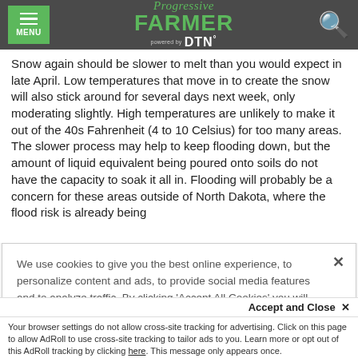Progressive FARMER powered by DTN
Snow again should be slower to melt than you would expect in late April. Low temperatures that move in to create the snow will also stick around for several days next week, only moderating slightly. High temperatures are unlikely to make it out of the 40s Fahrenheit (4 to 10 Celsius) for too many areas. The slower process may help to keep flooding down, but the amount of liquid equivalent being poured onto soils do not have the capacity to soak it all in. Flooding will probably be a concern for these areas outside of North Dakota, where the flood risk is already being
We use cookies to give you the best online experience, to personalize content and ads, to provide social media features and to analyze traffic. By clicking 'Accept All Cookies' you will allow the use of these cookies. Your settings can be changed, including withdrawing your consent at any time, by clicking 'Cookie Settings'. Find out more on how we and third parties use cookies in our Cookie Policy
Accept and Close ×
Your browser settings do not allow cross-site tracking for advertising. Click on this page to allow AdRoll to use cross-site tracking to tailor ads to you. Learn more or opt out of this AdRoll tracking by clicking here. This message only appears once.